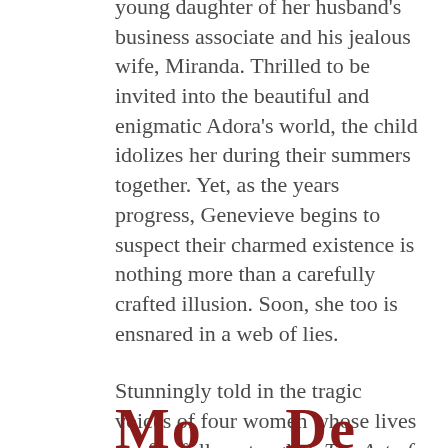young daughter of her husband's business associate and his jealous wife, Miranda. Thrilled to be invited into the beautiful and enigmatic Adora's world, the child idolizes her during their summers together. Yet, as the years progress, Genevieve begins to suspect their charmed existence is nothing more than a carefully crafted illusion. Soon, she too is ensnared in a web of lies.
Stunningly told in the tragic voices of four women whose lives are fatefully entangled, The Art of Devotion is evocative and haunting, a story of deceit, jealousy, and the heartbreaking reality of love's true power.
Mo...